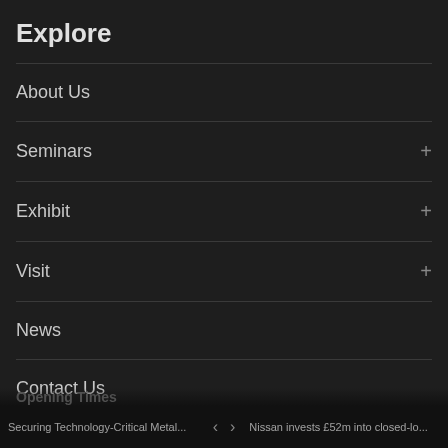Explore
About Us
Seminars
Exhibit
Visit
News
Contact Us
Free ticket
Securing Technology-Critical Metal... < > Nissan invests £52m into closed-lo...